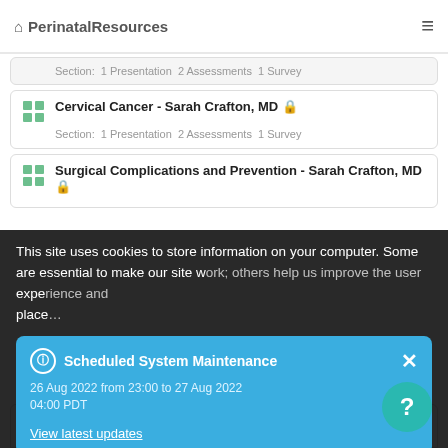PerinatalResources
Section:  1 Presentation  2 Assessments  1 Survey
Cervical Cancer - Sarah Crafton, MD 🔒
Section:  1 Presentation  2 Assessments  1 Survey
Surgical Complications and Prevention - Sarah Crafton, MD 🔒
Section:  1 Presentation  2 Assessments  1 Survey
This site uses cookies to store information on your computer. Some are essential to make our site work; others help us improve the user experience and place...
Scheduled System Maintenance
26 Aug 2022 from 23:00 to 27 Aug 2022 04:00 PDT
View latest updates
Agree & Dismiss
Complications of Continence and